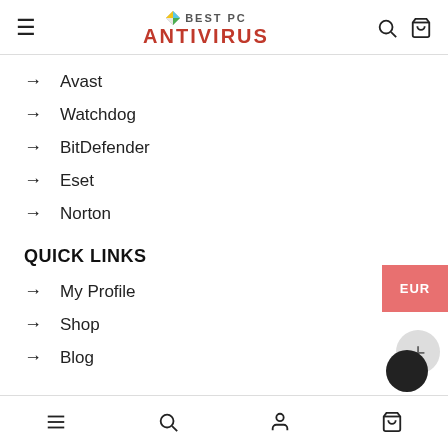≡  BEST PC ANTIVIRUS  🔍 🛒
→ Avast
→ Watchdog
→ BitDefender
→ Eset
→ Norton
QUICK LINKS
→ My Profile
→ Shop
→ Blog
≡  🔍  👤  🛒